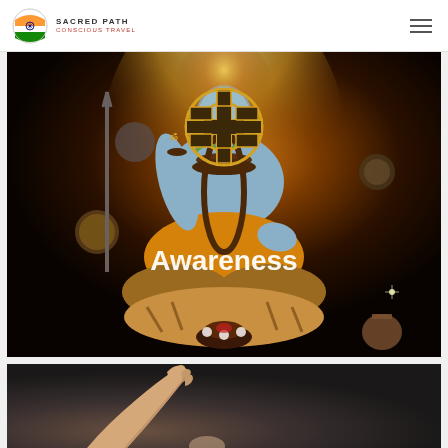SACRED PATH | CONSCIOUS TRAVEL
[Figure (illustration): Painting of Lord Shiva meditating in lotus pose with golden halo, wearing rudraksha beads, with Om symbol on hand, surrounded by cosmic elements, with a yellow mandala/wheel icon overlay and 'Awareness' text centered on the image]
Awareness
[Figure (photo): Partial view of a person's arm and hand reaching upward against a dark grey background]